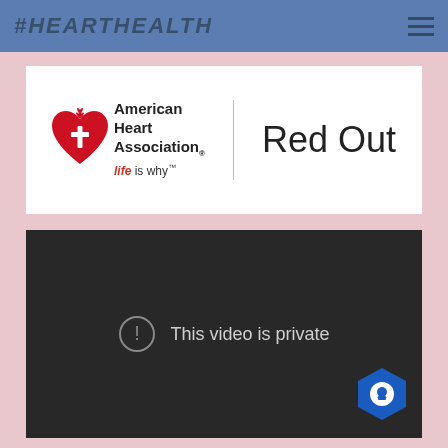#HEARTHEALTH
[Figure (logo): American Heart Association Red Out logo with heart icon, AHA text, 'life is why' tagline, vertical divider, and 'Red Out' text]
[Figure (screenshot): Dark video player showing 'This video is private' message with warning icon circle]